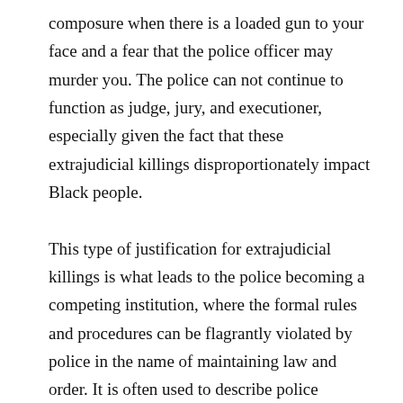composure when there is a loaded gun to your face and a fear that the police officer may murder you. The police can not continue to function as judge, jury, and executioner, especially given the fact that these extrajudicial killings disproportionately impact Black people.

This type of justification for extrajudicial killings is what leads to the police becoming a competing institution, where the formal rules and procedures can be flagrantly violated by police in the name of maintaining law and order. It is often used to describe police violence in countries such as Brazil and Argentina, but it is also apt to describe the police in the U.S. ...